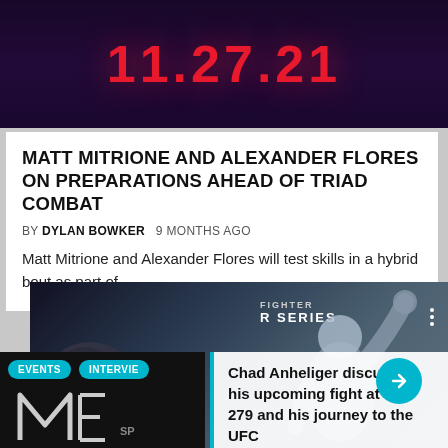[Figure (photo): Dark purple/black background with large red bold date text '11.27.21' in the center]
MATT MITRIONE AND ALEXANDER FLORES ON PREPARATIONS AHEAD OF TRIAD COMBAT
BY DYLAN BOWKER   9 MONTHS AGO
Matt Mitrione and Alexander Flores will test skills in a hybrid bout as part of
[Figure (photo): MMA fighter photo with 'FIGHTER SERIES' text visible, a shirtless tattooed fighter raising his fist in celebration]
EVENTS   INTERVIEWS
[Figure (photo): Metallica logo on dark background with 'SP' text]
Chad Anheliger discusses his upcoming fight at UFC 279 and his journey to the UFC